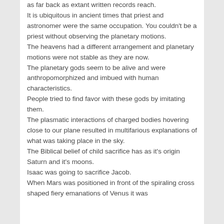as far back as extant written records reach. It is ubiquitous in ancient times that priest and astronomer were the same occupation. You couldn't be a priest without observing the planetary motions. The heavens had a different arrangement and planetary motions were not stable as they are now. The planetary gods seem to be alive and were anthropomorphized and imbued with human characteristics. People tried to find favor with these gods by imitating them. The plasmatic interactions of charged bodies hovering close to our plane resulted in multifarious explanations of what was taking place in the sky. The Biblical belief of child sacrifice has as it's origin Saturn and it's moons. Isaac was going to sacrifice Jacob. When Mars was positioned in front of the spiraling cross shaped fiery emanations of Venus it was